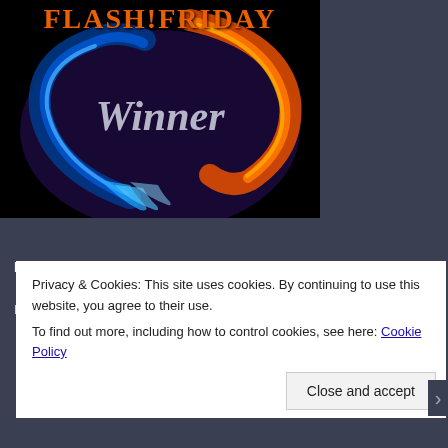[Figure (illustration): Flash Friday Winner badge — dark background with blue and orange fire swirling in a yin-yang shape, text reads 'FLASH! FRIDAY' in orange at the top and 'Winner' in metallic script in the center.]
FOLLOW BLOG VIA EMAIL
Enter your email address to follow this blog and receive notifications of...
Privacy & Cookies: This site uses cookies. By continuing to use this website, you agree to their use.
To find out more, including how to control cookies, see here: Cookie Policy
Close and accept